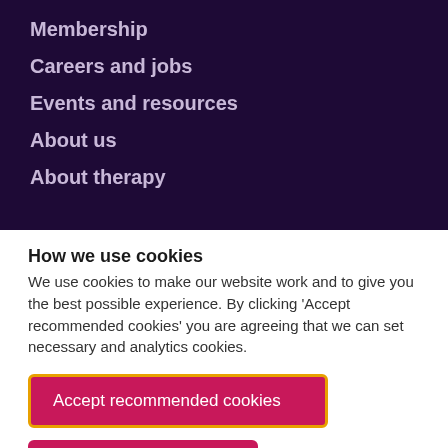Membership
Careers and jobs
Events and resources
About us
About therapy
How we use cookies
We use cookies to make our website work and to give you the best possible experience. By clicking 'Accept recommended cookies' you are agreeing that we can set necessary and analytics cookies.
Accept recommended cookies
Manage cookies